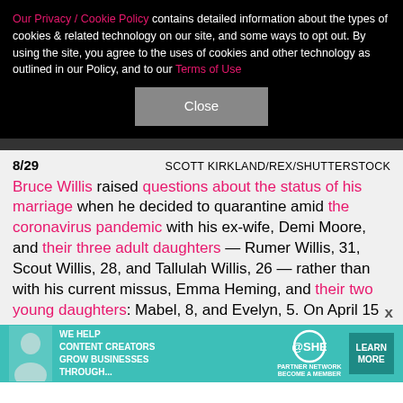Our Privacy / Cookie Policy contains detailed information about the types of cookies & related technology on our site, and some ways to opt out. By using the site, you agree to the uses of cookies and other technology as outlined in our Policy, and to our Terms of Use
Close
8/29   SCOTT KIRKLAND/REX/SHUTTERSTOCK
Bruce Willis raised questions about the status of his marriage when he decided to quarantine amid the coronavirus pandemic with his ex-wife, Demi Moore, and their three adult daughters — Rumer Willis, 31, Scout Willis, 28, and Tallulah Willis, 26 — rather than with his current missus, Emma Heming, and their two young daughters: Mabel, 8, and Evelyn, 5. On April 15
[Figure (infographic): SHE Partner Network advertisement: We help content creators grow businesses through... Learn More]